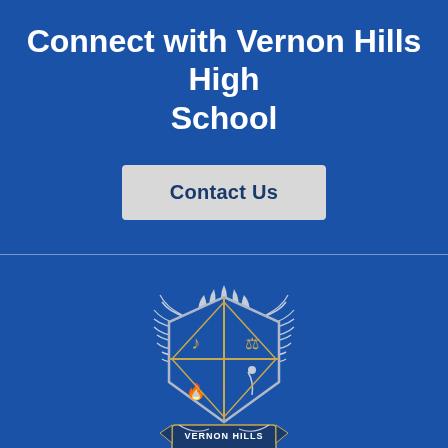Connect with Vernon Hills High School
Contact Us
[Figure (logo): Vernon Hills High School crest/logo with shield divided into four quadrants with symbols, flanked by laurel wings, and a banner reading VERNON HILLS HIGH SCHOOL]
Vernon Hills High School